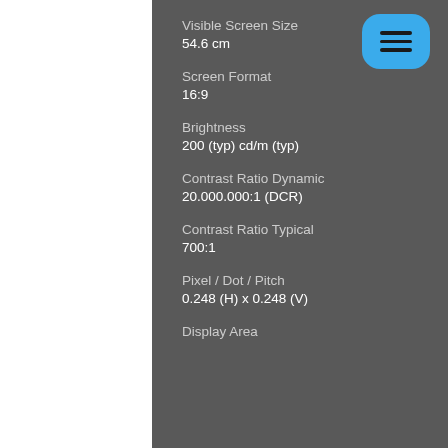Visible Screen Size
54.6 cm
Screen Format
16:9
Brightness
200 (typ) cd/m (typ)
Contrast Ratio Dynamic
20.000.000:1 (DCR)
Contrast Ratio Typical
700:1
Pixel / Dot / Pitch
0.248 (H) x 0.248 (V)
Display Area